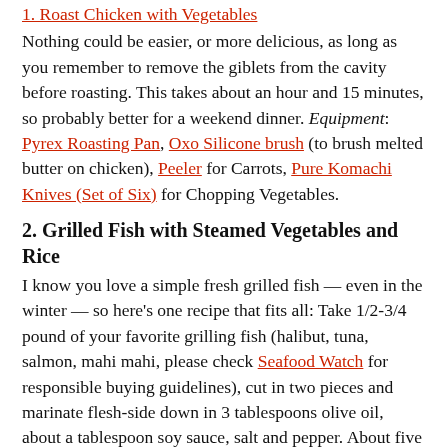1. Roast Chicken with Vegetables
Nothing could be easier, or more delicious, as long as you remember to remove the giblets from the cavity before roasting. This takes about an hour and 15 minutes, so probably better for a weekend dinner. Equipment: Pyrex Roasting Pan, Oxo Silicone brush (to brush melted butter on chicken), Peeler for Carrots, Pure Komachi Knives (Set of Six) for Chopping Vegetables.
2. Grilled Fish with Steamed Vegetables and Rice
I know you love a simple fresh grilled fish — even in the winter — so here's one recipe that fits all: Take 1/2-3/4 pound of your favorite grilling fish (halibut, tuna, salmon, mahi mahi, please check Seafood Watch for responsible buying guidelines), cut in two pieces and marinate flesh-side down in 3 tablespoons olive oil, about a tablespoon soy sauce, salt and pepper. About five minutes before you cook fish, squeeze some fresh lime on its flesh. Heat grill pan to medium-high, and